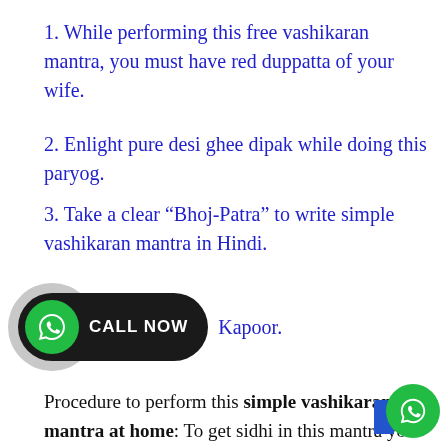1. While performing this free vashikaran mantra, you must have red duppatta of your wife.
2. Enlight pure desi ghee dipak while doing this paryog.
3. Take a clear “Bhoj-Patra” to write simple vashikaran mantra in Hindi.
[Figure (other): Call Now button with WhatsApp icon on dark pill background with grey circle behind, followed by partial text 'Kapoor.']
Procedure to perform this simple vashikaran mantra at home: To get sidhi in this mantra you must have gain sidhi which can be done as below:
Wake up at 3AM and have bath to start before 4AM.
[Figure (other): Green WhatsApp floating action button in bottom right corner with blue corner element behind it]